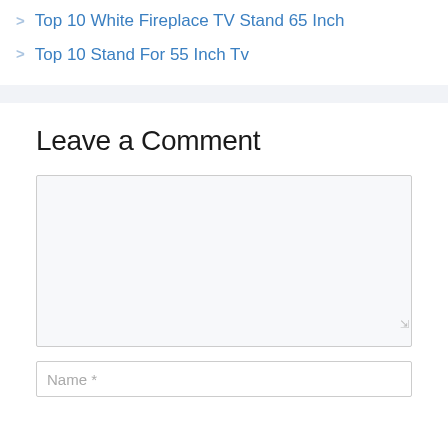> Top 10 White Fireplace TV Stand 65 Inch
> Top 10 Stand For 55 Inch Tv
Leave a Comment
[Comment textarea field]
Name *